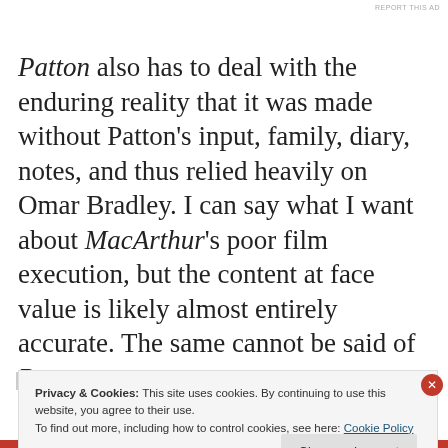REPORT THIS AD
Patton also has to deal with the enduring reality that it was made without Patton's input, family, diary, notes, and thus relied heavily on Omar Bradley. I can say what I want about MacArthur's poor film execution, but the content at face value is likely almost entirely accurate. The same cannot be said of Patton.
Privacy & Cookies: This site uses cookies. By continuing to use this website, you agree to their use. To find out more, including how to control cookies, see here: Cookie Policy
Close and accept